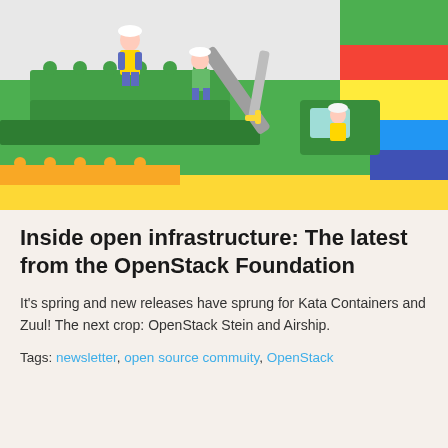[Figure (photo): Colorful Lego/Playmobil construction scene with toy figurines wearing hard hats and safety vests, operating a toy excavator/crane among green, yellow, red, and blue Lego bricks.]
Inside open infrastructure: The latest from the OpenStack Foundation
It's spring and new releases have sprung for Kata Containers and Zuul! The next crop: OpenStack Stein and Airship.
Tags: newsletter, open source commuity, OpenStack